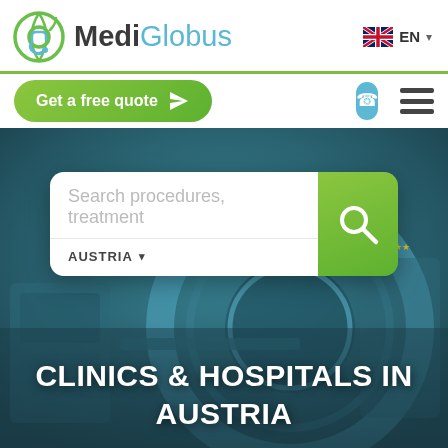[Figure (logo): MediGlobus logo with circular globe/stethoscope icon in green and teal, text 'MediGlobus' in dark gray and teal, with UK flag and EN language selector]
[Figure (screenshot): 'Get a free quote' green pill button with paper-plane icon on left, phone/call icon and hamburger menu icon on right]
[Figure (screenshot): Hero background: MRI/CT scanner machine in teal-tinted medical environment, with a search box overlay containing 'Search procedures, treatment' input field and AUSTRIA country selector with green search button. Title 'CLINICS & HOSPITALS IN AUSTRIA' in bold white at bottom.]
CLINICS & HOSPITALS IN AUSTRIA